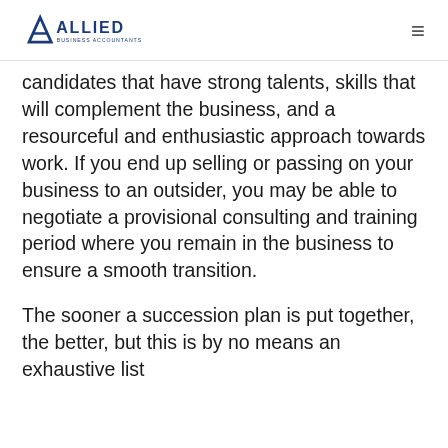Allied Business Accountants
candidates that have strong talents, skills that will complement the business, and a resourceful and enthusiastic approach towards work. If you end up selling or passing on your business to an outsider, you may be able to negotiate a provisional consulting and training period where you remain in the business to ensure a smooth transition.
The sooner a succession plan is put together, the better, but this is by no means an exhaustive list